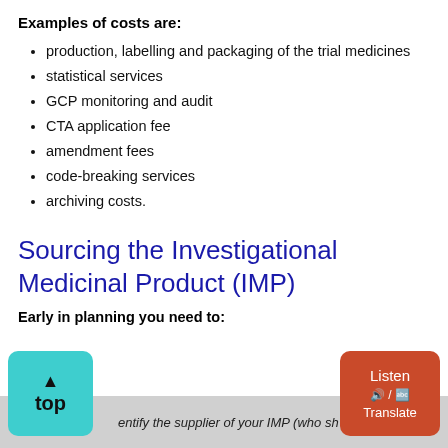Examples of costs are:
production, labelling and packaging of the trial medicines
statistical services
GCP monitoring and audit
CTA application fee
amendment fees
code-breaking services
archiving costs.
Sourcing the Investigational Medicinal Product (IMP)
Early in planning you need to:
identify the supplier of your IMP (who sh…